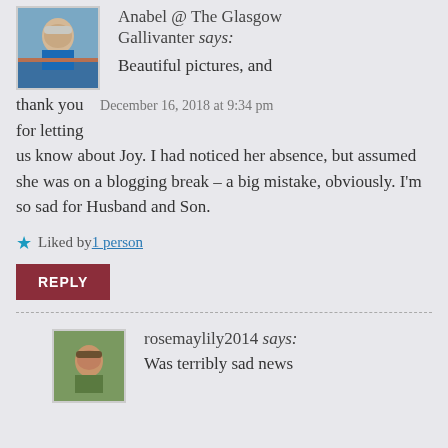[Figure (photo): Avatar photo of a person with white hair wearing a blue jacket, outdoors]
Anabel @ The Glasgow Gallivanter says:
Beautiful pictures, and thank you  December 16, 2018 at 9:34 pm
for letting
us know about Joy. I had noticed her absence, but assumed she was on a blogging break – a big mistake, obviously. I'm so sad for Husband and Son.
Liked by 1 person
REPLY
[Figure (photo): Small avatar photo of rosemaylily2014]
rosemaylily2014 says:
Was terribly sad news